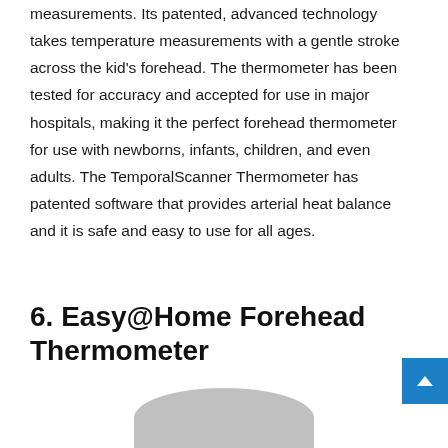measurements. Its patented, advanced technology takes temperature measurements with a gentle stroke across the kid's forehead. The thermometer has been tested for accuracy and accepted for use in major hospitals, making it the perfect forehead thermometer for use with newborns, infants, children, and even adults. The TemporalScanner Thermometer has patented software that provides arterial heat balance and it is safe and easy to use for all ages.
6. Easy@Home Forehead Thermometer
[Figure (photo): Bottom portion of a thermometer device, partially visible at the bottom of the page]